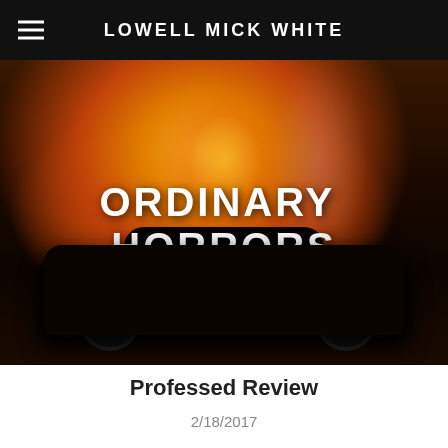LOWELL MICK WHITE
[Figure (photo): A vintage black car engulfed in flames with large orange and yellow fire rising from behind it, against an industrial background. The text 'ORDINARY HORRORS' is overlaid in large white bold uppercase letters.]
Ordinary Horrors
Professed Review
2/18/2017